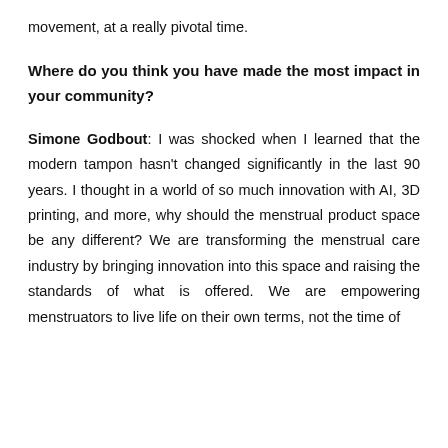movement, at a really pivotal time.
Where do you think you have made the most impact in your community?
Simone Godbout: I was shocked when I learned that the modern tampon hasn't changed significantly in the last 90 years. I thought in a world of so much innovation with AI, 3D printing, and more, why should the menstrual product space be any different? We are transforming the menstrual care industry by bringing innovation into this space and raising the standards of what is offered. We are empowering menstruators to live life on their own terms, not the time of